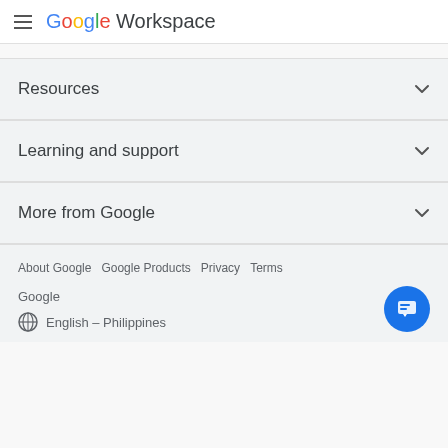Google Workspace
Resources
Learning and support
More from Google
About Google  Google Products  Privacy  Terms
Google
English – Philippines